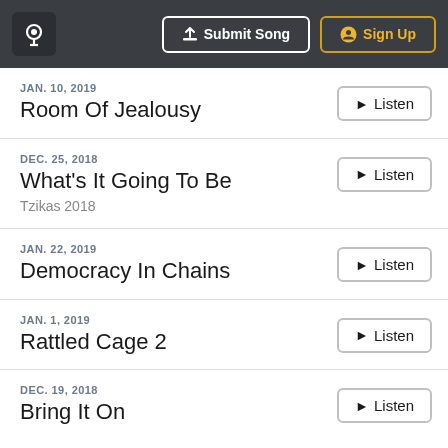Submit Song | Sign Up
JAN. 10, 2019 — Room Of Jealousy — Listen
DEC. 25, 2018 — What's It Going To Be — Tzikas 2018 — Listen
JAN. 22, 2019 — Democracy In Chains — Listen
JAN. 1, 2019 — Rattled Cage 2 — Listen
DEC. 19, 2018 — Bring It On — Listen